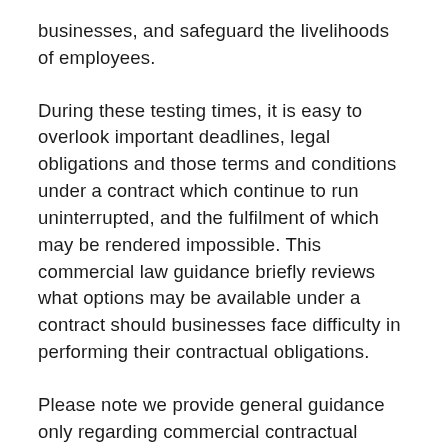businesses, and safeguard the livelihoods of employees.
During these testing times, it is easy to overlook important deadlines, legal obligations and those terms and conditions under a contract which continue to run uninterrupted, and the fulfilment of which may be rendered impossible. This commercial law guidance briefly reviews what options may be available under a contract should businesses face difficulty in performing their contractual obligations.
Please note we provide general guidance only regarding commercial contractual obligations in the context of the current pandemic. This guidance does not cover employment contracts